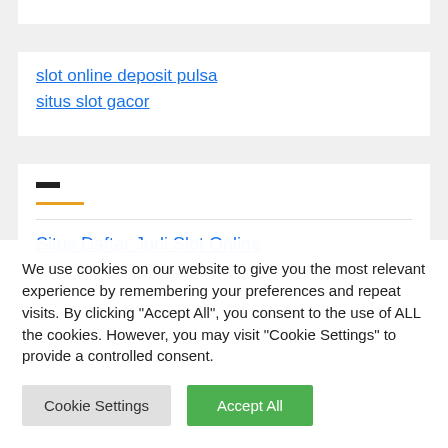slot online deposit pulsa
situs slot gacor
Situs Daftar Judi Slot Online
We use cookies on our website to give you the most relevant experience by remembering your preferences and repeat visits. By clicking "Accept All", you consent to the use of ALL the cookies. However, you may visit "Cookie Settings" to provide a controlled consent.
Cookie Settings | Accept All